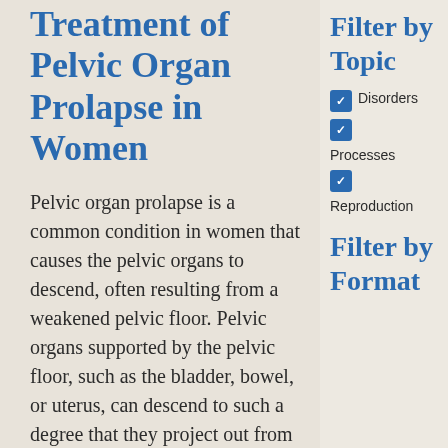Treatment of Pelvic Organ Prolapse in Women
Pelvic organ prolapse is a common condition in women that causes the pelvic organs to descend, often resulting from a weakened pelvic floor. Pelvic organs supported by the pelvic floor, such as the bladder, bowel, or uterus, can descend to such a degree that they project out from a woman's body typically via the vagina. Pelvic floor stress or trauma, like vaginal childbirth, can
Filter by Topic
Disorders
Processes
Reproduction
Filter by Format